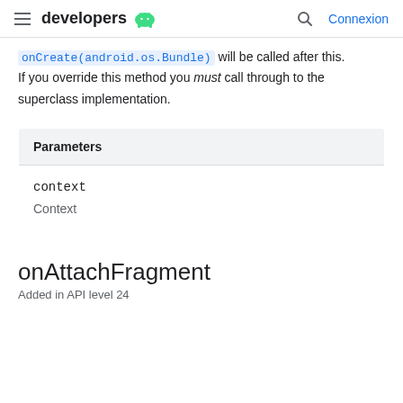developers [android logo] Connexion
onCreate(android.os.Bundle) will be called after this. If you override this method you must call through to the superclass implementation.
| Parameters |
| --- |
| context |
| Context |
onAttachFragment
Added in API level 24